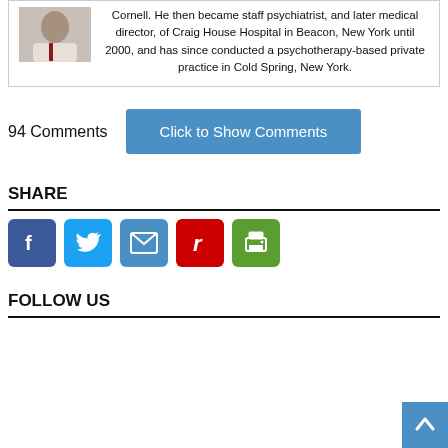Cornell. He then became staff psychiatrist, and later medical director, of Craig House Hospital in Beacon, New York until 2000, and has since conducted a psychotherapy-based private practice in Cold Spring, New York.
94 Comments
Click to Show Comments
SHARE
[Figure (infographic): Social share icons: Facebook, Twitter, Email, Reddit/r, Print]
FOLLOW US